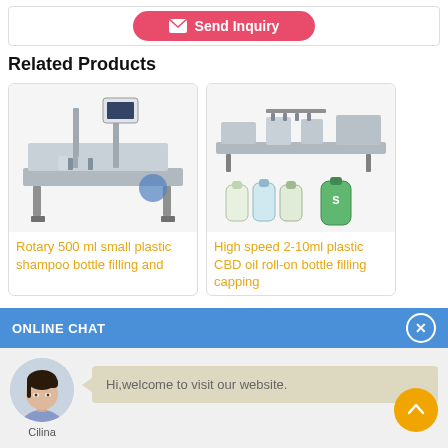[Figure (other): Send Inquiry button (pink/red rounded rectangle with envelope icon and white text)]
Related Products
[Figure (photo): Rotary 500 ml small plastic shampoo bottle filling machine photo]
Rotary 500 ml small plastic shampoo bottle filling and
[Figure (photo): High speed 2-10ml plastic CBD oil roll-on bottle filling capping machine with shampoo bottles]
High speed 2-10ml plastic CBD oil roll-on bottle filling capping
ONLINE CHAT
[Figure (photo): Avatar photo of Cilina, a woman in a blue shirt]
Cilina
Hi,welcome to visit our website.